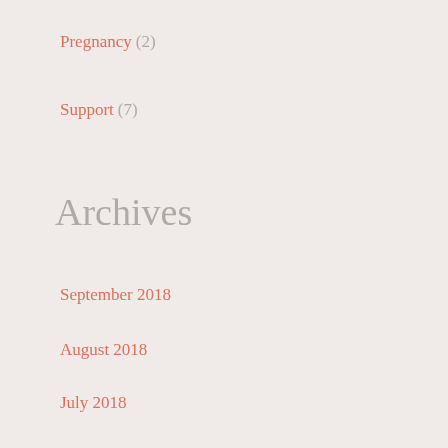Pregnancy (2)
Support (7)
Archives
September 2018
August 2018
July 2018
June 2018
May 2018
April 2018
January 2018